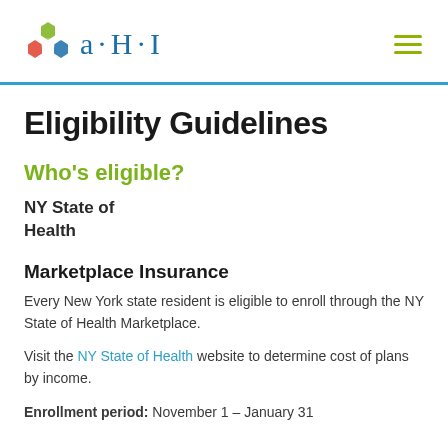[Figure (logo): AHI logo with colorful hexagonal icon and 'a·H·I' text in blue]
Eligibility Guidelines
Who's eligible?
NY State of Health
Marketplace Insurance
Every New York state resident is eligible to enroll through the NY State of Health Marketplace.
Visit the NY State of Health website to determine cost of plans by income.
Enrollment period: November 1 – January 31